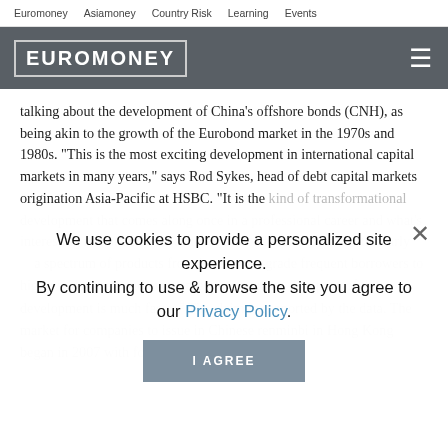Euromoney   Asiamoney   Country Risk   Learning   Events
[Figure (logo): Euromoney logo in white block letters with border on dark grey header bar with hamburger menu icon]
talking about the development of China's offshore bonds (CNH), as being akin to the growth of the Eurobond market in the 1970s and 1980s. "This is the most exciting development in international capital markets in many years," says Rod Sykes, head of debt capital markets origination Asia-Pacific at HSBC. "It is the kind of transformational development that comes along once in a professional career and what's interesting is that while when the Eurobond markets started the early borrowers were sovereign and agencies, this has gone through a spectrum of products from investment-grade frequent borrowers to high-yield issuers and even unrated corporates. The pace of this development is much faster." The claim is supported by the data. The market for companies to issue in Chinese renminbi in Hong Kong began in 2007 with four deals with a total of
We use cookies to provide a personalized site experience.
By continuing to use & browse the site you agree to our Privacy Policy.
I AGREE